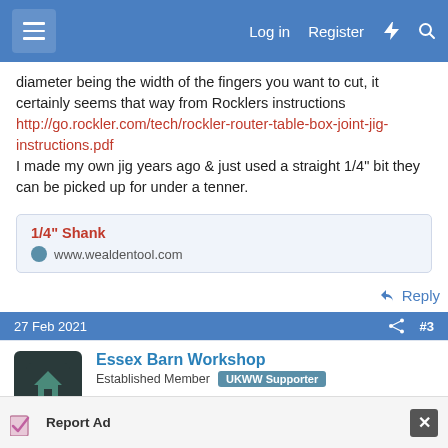Log in  Register
diameter being the width of the fingers you want to cut, it certainly seems that way from Rocklers instructions http://go.rockler.com/tech/rockler-router-table-box-joint-jig-instructions.pdf
I made my own jig years ago & just used a straight 1/4" bit they can be picked up for under a tenner.
[Figure (screenshot): Link preview card showing '1/4" Shank' title in red and 'www.wealdentool.com' domain with favicon]
Reply
27 Feb 2021  #3
Essex Barn Workshop
Established Member  UKWW Supporter
Report Ad